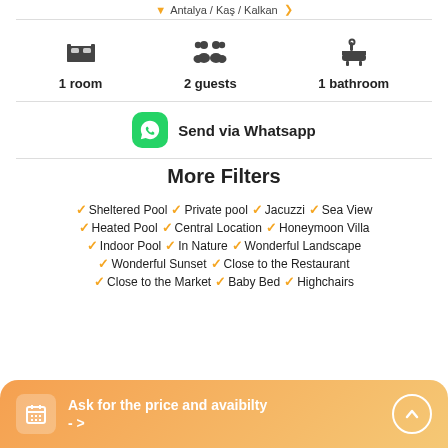Antalya / Kaş / Kalkan →
1 room  2 guests  1 bathroom
Send via Whatsapp
More Filters
Sheltered Pool, Private pool, Jacuzzi, Sea View
Heated Pool, Central Location, Honeymoon Villa
Indoor Pool, In Nature, Wonderful Landscape
Wonderful Sunset, Close to the Restaurant
Close to the Market, Baby Bed, Highchairs
Ask for the price and avaibilty ->